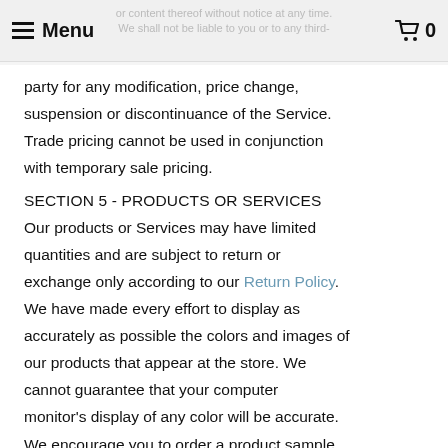☰ Menu   🛒 0
or content thereof without notice at any time. We shall not be liable to you or to any third-party for any modification, price change, suspension or discontinuance of the Service. Trade pricing cannot be used in conjunction with temporary sale pricing.
SECTION 5 - PRODUCTS OR SERVICES
Our products or Services may have limited quantities and are subject to return or exchange only according to our Return Policy. We have made every effort to display as accurately as possible the colors and images of our products that appear at the store. We cannot guarantee that your computer monitor's display of any color will be accurate. We encourage you to order a product sample to confirm the appearance of a product.